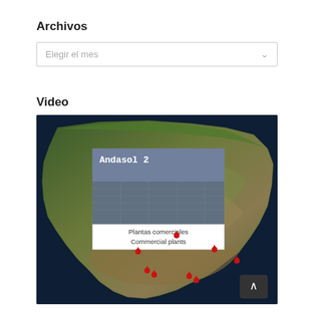Archivos
Elegir el mes
Video
[Figure (map): Satellite/terrain map of Spain showing the Iberian Peninsula with red location markers indicating commercial plant (Plantas comerciales / Commercial plants) sites. An inset image labeled 'Andasol 2' shows a solar thermal plant facility. A tooltip box reads 'Plantas comerciales / Commercial plants'. The label 'España' appears on the map. Several red dot markers are scattered across southern Spain.]